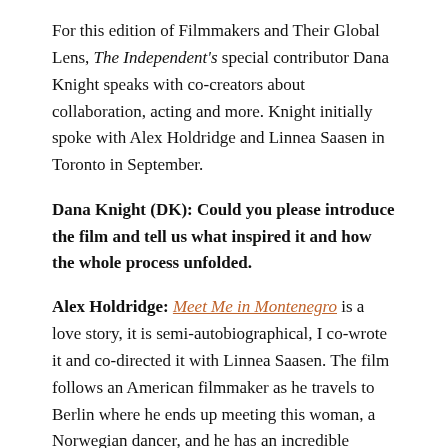For this edition of Filmmakers and Their Global Lens, The Independent's special contributor Dana Knight speaks with co-creators about collaboration, acting and more. Knight initially spoke with Alex Holdridge and Linnea Saasen in Toronto in September.
Dana Knight (DK): Could you please introduce the film and tell us what inspired it and how the whole process unfolded.
Alex Holdridge: Meet Me in Montenegro is a love story, it is semi-autobiographical, I co-wrote it and co-directed it with Linnea Saasen. The film follows an American filmmaker as he travels to Berlin where he ends up meeting this woman, a Norwegian dancer, and he has an incredible experience with her. They spend this incredible night together, they have a really strong connection and they decide spontaneously to jump on a train to the